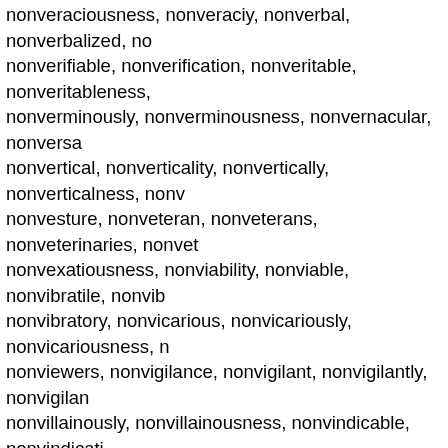nonveraciousness, nonveraciy, nonverbal, nonverbalized, nonverifiable, nonverification, nonveritable, nonveritableness, nonverminously, nonverminousness, nonvernacular, nonversa nonvertical, nonverticality, nonvertically, nonverticalness, nonv nonvesture, nonveteran, nonveterans, nonveterinaries, nonve nonvexatiousness, nonviability, nonviable, nonvibratile, nonvib nonvibratory, nonvicarious, nonvicariously, nonvicariousness, nonviewers, nonvigilance, nonvigilant, nonvigilantly, nonvigilan nonvillainously, nonvillainousness, nonvindicable, nonvindication nonviolability, nonviolable, nonviolableness, nonviolably, nonv nonviolent, nonviolently, nonviral, nonvirgin, nonvirginal, nonv nonvirtue, nonvirtuous, nonvirtuously, nonvirtuousness, nonvir nonvisaed, nonvisceral, nonviscid, nonviscidity, nonviscidly, no nonviscousness, nonvisibilities, nonvisibility, nonvisible, nonvis nonvisitation, nonvisiting, nonvisual, nonvisualized, nonvisually nonvitally, nonvitalness, nonvitiation, nonvitreous, nonvitrified, nonviviparously, nonviviparousness, nonvocable, nonvocal, no nonvocally, nonvocalness, nonvocational, nonvocationally, non nonvolatile, nonvolatileness, nonvolatility, nonvolatilizable, non nonvolition, nonvolitional, nonvolubility, nonvoluble, nonvoluble nonvortical, nonvortically, nonvoter, nonvoters, nonvoting, non nonvulgarity, nonvulval, nonvulvar, nonvvacua, nonwaiver, non nonwarrantably, nonwarranted, nonwars, nonwashable, nonwa nonwaxing, nonweakness, nonwelcome, nonwelcoming, nonw nonwinged, nonwinning, nonwithering, nonwonder, nonwonde nonwords, nonwork, nonworker, nonworkers, nonworking, non